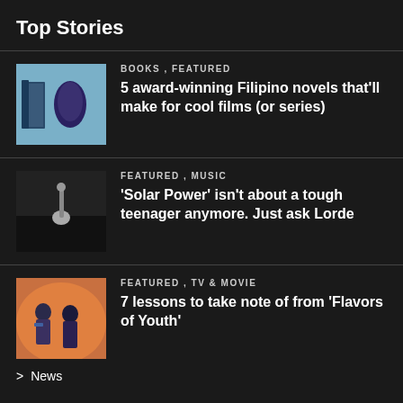Top Stories
Books , Featured
5 award-winning Filipino novels that'll make for cool films (or series)
Featured , Music
'Solar Power' isn't about a tough teenager anymore. Just ask Lorde
Featured , TV & Movie
7 lessons to take note of from 'Flavors of Youth'
> News